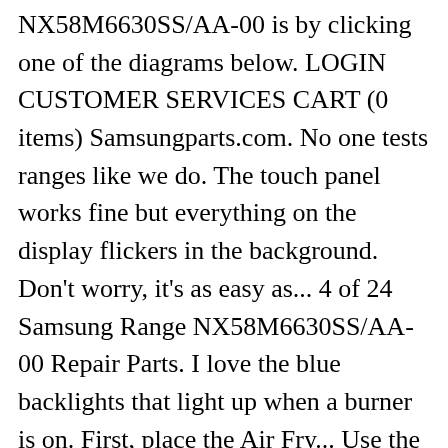NX58M6630SS/AA-00 is by clicking one of the diagrams below. LOGIN CUSTOMER SERVICES CART (0 items) Samsungparts.com. No one tests ranges like we do. The touch panel works fine but everything on the display flickers in the background. Don't worry, it's as easy as... 4 of 24 Samsung Range NX58M6630SS/AA-00 Repair Parts. I love the blue backlights that light up when a burner is on. First, place the Air Fry... Use the Smart Control Feature on Your Range. As we have the ability to list over one million items on our website (our selection changes all of the time), it is not feasible for a company our size to record and playback the descriptions on every item on our website. Please share your ZIP Code to find a nearby Best Buy location. NX58M6630SS by Samsung - Natural Gas Ranges | Goedekers.com Want to get hands-on with latest